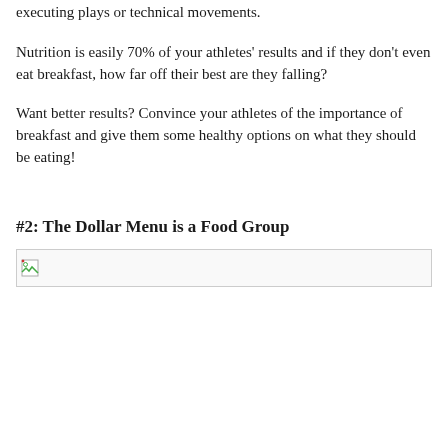executing plays or technical movements.
Nutrition is easily 70% of your athletes' results and if they don't even eat breakfast, how far off their best are they falling?
Want better results? Convince your athletes of the importance of breakfast and give them some healthy options on what they should be eating!
#2: The Dollar Menu is a Food Group
[Figure (photo): Image placeholder with broken image icon at top-left]